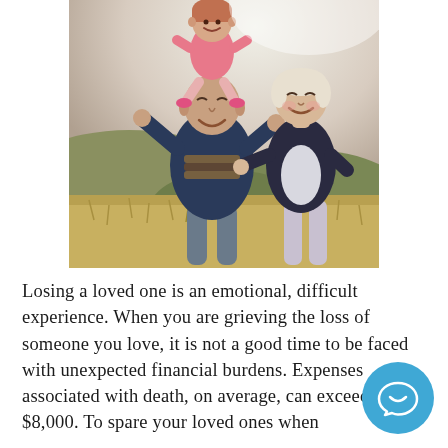[Figure (photo): A smiling grandfather carrying a young girl on his shoulders outdoors, with a smiling grandmother beside them. They are in a natural setting with golden grass and hills in the background.]
Losing a loved one is an emotional, difficult experience. When you are grieving the loss of someone you love, it is not a good time to be faced with unexpected financial burdens. Expenses associated with death, on average, can exceed $8,000. To spare your loved ones when